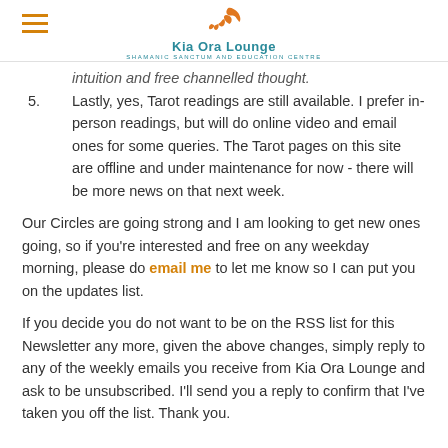Kia Ora Lounge — SHAMANIC SANCTUM AND EDUCATION CENTRE
intuition and free channelled thought.
5. Lastly, yes, Tarot readings are still available. I prefer in-person readings, but will do online video and email ones for some queries. The Tarot pages on this site are offline and under maintenance for now - there will be more news on that next week.
Our Circles are going strong and I am looking to get new ones going, so if you're interested and free on any weekday morning, please do email me to let me know so I can put you on the updates list.
If you decide you do not want to be on the RSS list for this Newsletter any more, given the above changes, simply reply to any of the weekly emails you receive from Kia Ora Lounge and ask to be unsubscribed. I'll send you a reply to confirm that I've taken you off the list. Thank you.